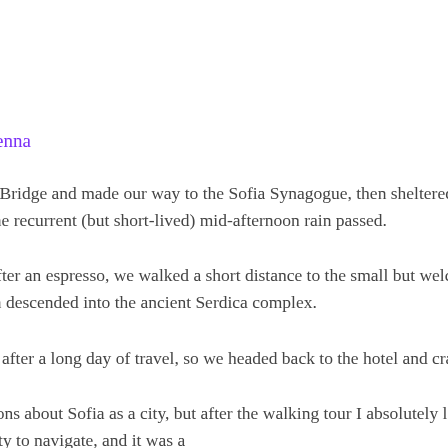City Guide for Vienna
Headed over Lions Bridge and made our way to the Sofia Synagogue, then sheltered in the Central Market Hall until the recurrent (but short-lived) mid-afternoon rain passed.
Feeling refreshed after an espresso, we walked a short distance to the small but welcoming Banya Bashi Mosque, then descended into the ancient Serdica complex.
We were exhausted after a long day of travel, so we headed back to the hotel and crashed.
I had low expectations about Sofia as a city, but after the walking tour I absolutely loved the place. This was an easy city to navigate, and it was a